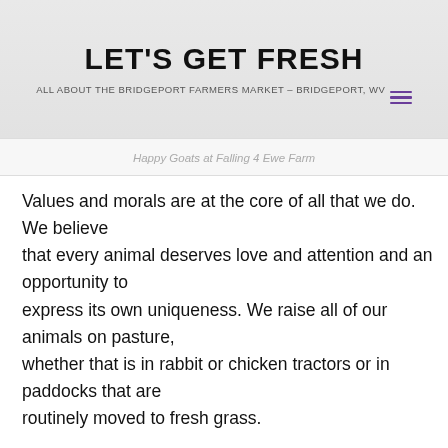LET'S GET FRESH
ALL ABOUT THE BRIDGEPORT FARMERS MARKET – BRIDGEPORT, WV
[Figure (other): Hamburger menu icon with three purple horizontal lines]
Happy Goats at Falling 4 Ewe Farm
Values and morals are at the core of all that we do. We believe that every animal deserves love and attention and an opportunity to express its own uniqueness. We raise all of our animals on pasture, whether that is in rabbit or chicken tractors or in paddocks that are routinely moved to fresh grass.